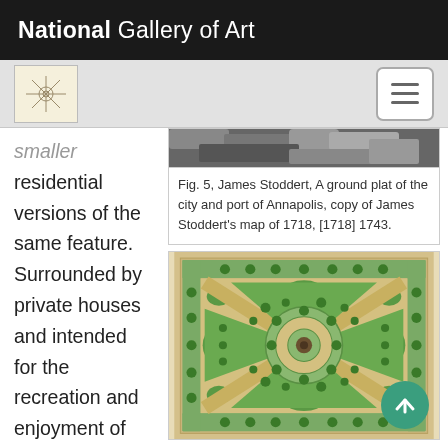National Gallery of Art
smaller residential versions of the same feature. Surrounded by private houses and intended for the recreation and enjoyment of immediate residents, these often-gated
[Figure (photo): Partial black and white image visible at top — map or engraving detail]
Fig. 5, James Stoddert, A ground plat of the city and port of Annapolis, copy of James Stoddert's map of 1718, [1718] 1743.
[Figure (illustration): Historical garden plan illustration showing a formal garden layout with circular central feature, diagonal paths, and decorative plantings, rendered in green and tan tones]